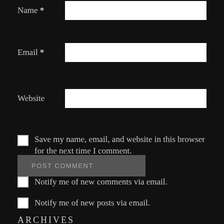Name *
Email *
Website
Save my name, email, and website in this browser for the next time I comment.
POST COMMENT
Notify me of new comments via email.
Notify me of new posts via email.
ARCHIVES